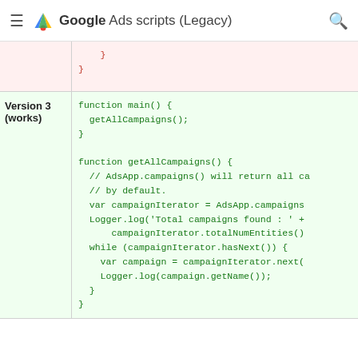Google Ads scripts (Legacy)
}
}
Version 3 (works)
function main() {
  getAllCampaigns();
}

function getAllCampaigns() {
  // AdsApp.campaigns() will return all ca
  // by default.
  var campaignIterator = AdsApp.campaigns
  Logger.log('Total campaigns found : ' +
      campaignIterator.totalNumEntities()
  while (campaignIterator.hasNext()) {
    var campaign = campaignIterator.next(
    Logger.log(campaign.getName());
  }
}